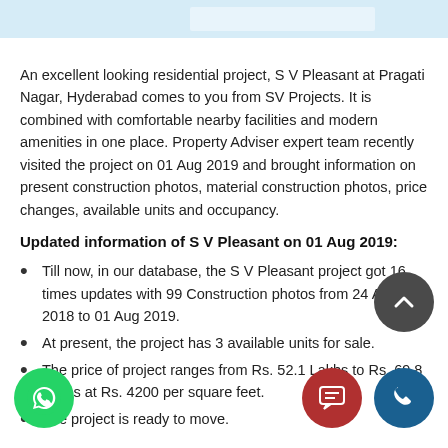[Figure (other): Top banner with light blue background and a white rectangular element on the right side]
An excellent looking residential project, S V Pleasant at Pragati Nagar, Hyderabad comes to you from SV Projects. It is combined with comfortable nearby facilities and modern amenities in one place. Property Adviser expert team recently visited the project on 01 Aug 2019 and brought information on present construction photos, material construction photos, price changes, available units and occupancy.
Updated information of S V Pleasant on 01 Aug 2019:
Till now, in our database, the S V Pleasant project got 16 times updates with 99 Construction photos from 24 Apr 2018 to 01 Aug 2019.
At present, the project has 3 available units for sale.
The price of project ranges from Rs. 52.1 Lakhs to Rs. 69.8 Lakhs at Rs. 4200 per square feet.
The project is ready to move.